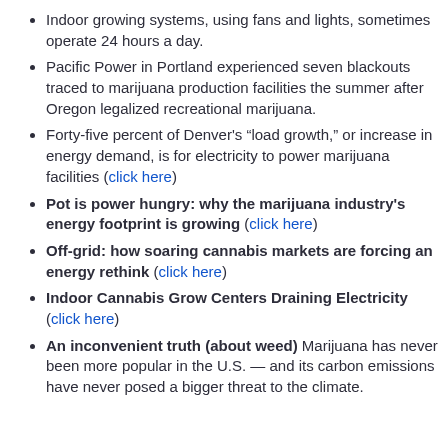Indoor growing systems, using fans and lights, sometimes operate 24 hours a day.
Pacific Power in Portland experienced seven blackouts traced to marijuana production facilities the summer after Oregon legalized recreational marijuana.
Forty-five percent of Denver's “load growth,” or increase in energy demand, is for electricity to power marijuana facilities (click here)
Pot is power hungry: why the marijuana industry's energy footprint is growing (click here)
Off-grid: how soaring cannabis markets are forcing an energy rethink (click here)
Indoor Cannabis Grow Centers Draining Electricity (click here)
An inconvenient truth (about weed) Marijuana has never been more popular in the U.S. — and its carbon emissions have never posed a bigger threat to the climate.